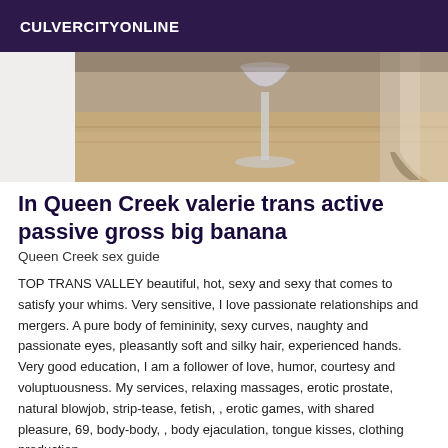CULVERCITYONLINE
[Figure (photo): Photo showing what appears to be a martini glass and high heel shoes on a decorative rug]
In Queen Creek valerie trans active passive gross big banana
Queen Creek sex guide
TOP TRANS VALLEY beautiful, hot, sexy and sexy that comes to satisfy your whims. Very sensitive, I love passionate relationships and mergers. A pure body of femininity, sexy curves, naughty and passionate eyes, pleasantly soft and silky hair, experienced hands. Very good education, I am a follower of love, humor, courtesy and voluptuousness. My services, relaxing massages, erotic prostate, natural blowjob, strip-tease, fetish, , erotic games, with shared pleasure, 69, body-body, , body ejaculation, tongue kisses, clothing production,